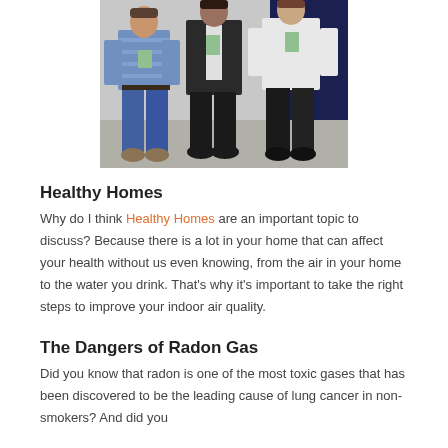[Figure (photo): Three men standing together at what appears to be a convention or event, wearing conference badges. One is in a blue striped shirt and jeans, one in a dark jacket, and one in a white shirt with dark pants.]
Healthy Homes
Why do I think Healthy Homes are an important topic to discuss? Because there is a lot in your home that can affect your health without us even knowing, from the air in your home to the water you drink. That's why it's important to take the right steps to improve your indoor air quality.
The Dangers of Radon Gas
Did you know that radon is one of the most toxic gases that has been discovered to be the leading cause of lung cancer in non-smokers? And did you